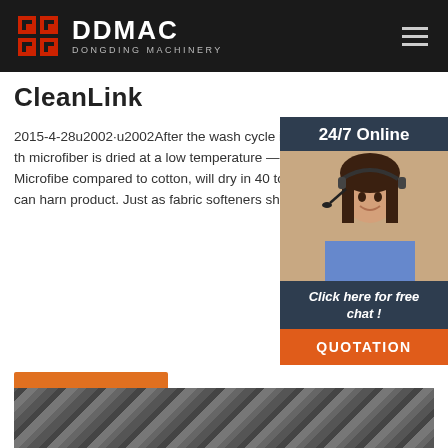DDMAC DONGDING MACHINERY
CleanLink
2015-4-28u2002·u2002After the wash cycle is complete, general guidelines recommend that microfiber is dried at a low temperature — between 130 and 140 degrees Fahrenheit. Microfiber, compared to cotton, will dry in 40 to 60 percent the time, and temperatures any higher can harm the product. Just as fabric softeners should be avoided in washing, fabric softener ...
[Figure (photo): Customer service representative woman with headset smiling, overlaid on dark sidebar widget with 24/7 Online header, Click here for free chat text, and QUOTATION button]
[Figure (photo): Industrial interior ceiling with steel beams and structure, partially visible at bottom of page]